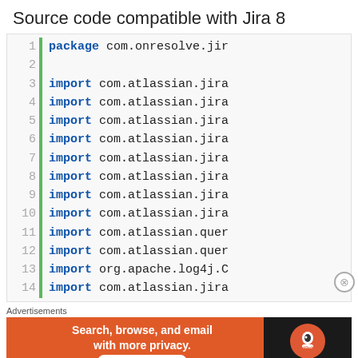Source code compatible with Jira 8
[Figure (screenshot): Code editor screenshot showing lines 1-14 of Java source code. Line 1: package com.onresolve.jir... Lines 3-10: import com.atlassian.jira... (multiple imports). Line 11-12: import com.atlassian.quer... Line 13: import org.apache.log4j.C... Line 14: import com.atlassian.jira... A green vertical bar decorates the left side of the code block.]
[Figure (screenshot): Advertisement banner for DuckDuckGo: 'Search, browse, and email with more privacy. All in One Free App' on orange background with DuckDuckGo logo on dark right panel.]